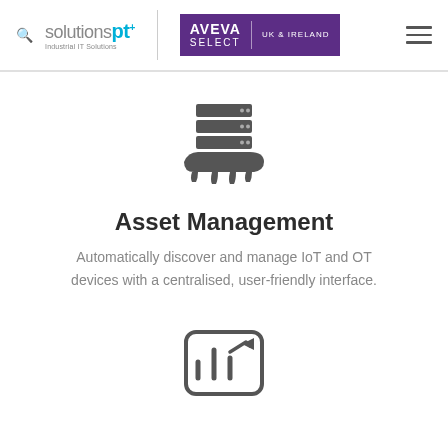[Figure (logo): SolutionsPT logo with search icon, tagline 'Industrial IT Solutions', AVEVA Select UK & Ireland badge, and hamburger menu icon]
[Figure (illustration): Server/database stack icon being held by a hand, representing asset management]
Asset Management
Automatically discover and manage IoT and OT devices with a centralised, user-friendly interface.
[Figure (illustration): Partially visible icon at the bottom of the page, appears to be a chart or analytics icon with rounded rectangle border]